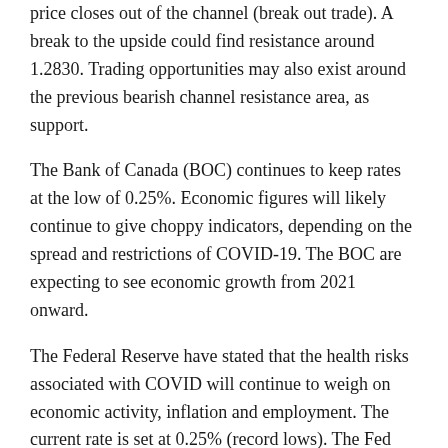price closes out of the channel (break out trade). A break to the upside could find resistance around 1.2830. Trading opportunities may also exist around the previous bearish channel resistance area, as support.
The Bank of Canada (BOC) continues to keep rates at the low of 0.25%. Economic figures will likely continue to give choppy indicators, depending on the spread and restrictions of COVID-19. The BOC are expecting to see economic growth from 2021 onward.
The Federal Reserve have stated that the health risks associated with COVID will continue to weigh on economic activity, inflation and employment. The current rate is set at 0.25% (record lows). The Fed have suggested that rates may remain low until economic indicators show satisfactory improvement.